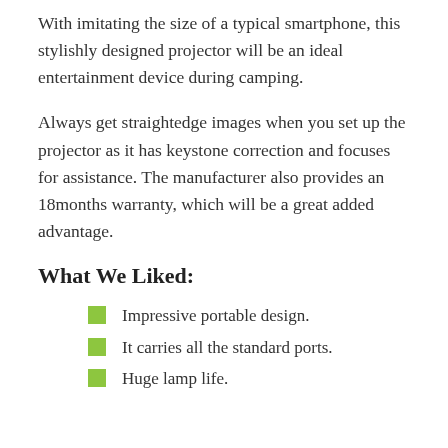With imitating the size of a typical smartphone, this stylishly designed projector will be an ideal entertainment device during camping.
Always get straightedge images when you set up the projector as it has keystone correction and focuses for assistance. The manufacturer also provides an 18months warranty, which will be a great added advantage.
What We Liked:
Impressive portable design.
It carries all the standard ports.
Huge lamp life.